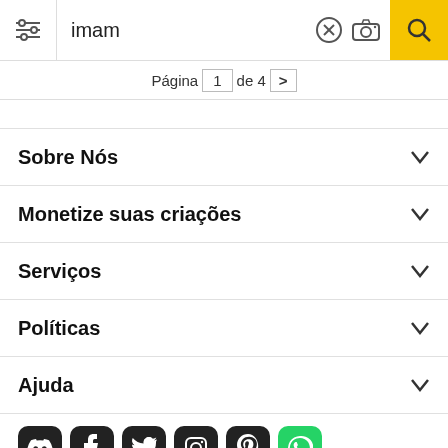[Figure (screenshot): Search bar with filter icon, text input showing 'imam', clear button, camera button, and yellow search button]
Página  1  de 4  >
Sobre Nós
Monetize suas criações
Serviços
Políticas
Ajuda
[Figure (illustration): Row of social media icons: Discord, Facebook, Twitter, Instagram, Pinterest, WhatsApp]
Todos os direitos reservados. © Inmagine Lab Pte Ltd 2022.